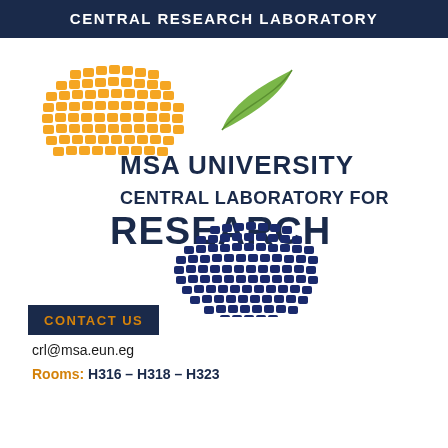CENTRAL RESEARCH LABORATORY
[Figure (logo): MSA University Central Laboratory for Research logo with orange globe top-left, green leaf, navy text reading 'MSA UNIVERSITY CENTRAL LABORATORY FOR RESEARCH', and navy globe bottom-center]
CONTACT US
crl@msa.eun.eg
Rooms: H316 – H318 – H323